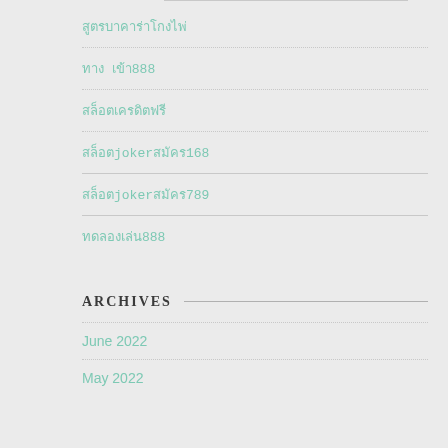สูตรบาคาร่าโกงไพ่
ทาง เข้า888
สล็อตเครดิตฟรี
สล็อตjokerสมัคร168
สล็อตjokerสมัคร789
ทดลองเล่น888
ARCHIVES
June 2022
May 2022